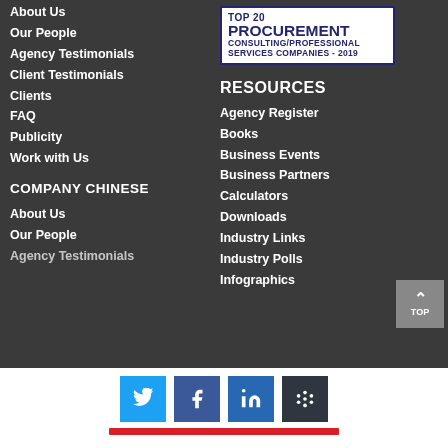[Figure (logo): Procurement Consulting/Professional Services Companies - 2019 badge with blue border]
About Us
Our People
Agency Testimonials
Client Testimonials
Clients
FAQ
Publicity
Work with Us
COMPANY CHINESE
About Us
Our People
Agency Testimonials
RESOURCES
Agency Register
Books
Business Events
Business Partners
Calculators
Downloads
Industry Links
Industry Polls
Infographics
[Figure (infographic): Social share buttons: Twitter, Facebook, LinkedIn, Buffer]
[Figure (other): Red horizontal bar below social icons]